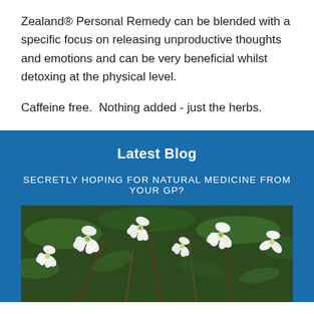Zealand® Personal Remedy can be blended with a specific focus on releasing unproductive thoughts and emotions and can be very beneficial whilst detoxing at the physical level.
Caffeine free.  Nothing added - just the herbs.
Latest Blog
SECRETLY HOPING FOR NATURAL MEDICINE FROM YOUR GP?
[Figure (photo): Close-up photo of white flowers with green foliage, likely manuka or tea tree flowers, on a dark background]